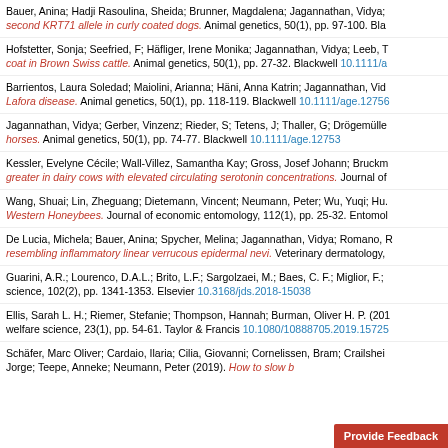Bauer, Anina; Hadji Rasoulina, Sheida; Brunner, Magdalena; Jagannathan, Vidya; ... second KRT71 allele in curly coated dogs. Animal genetics, 50(1), pp. 97-100. Bla...
Hofstetter, Sonja; Seefried, F; Häfliger, Irene Monika; Jagannathan, Vidya; Leeb, T... coat in Brown Swiss cattle. Animal genetics, 50(1), pp. 27-32. Blackwell 10.1111/a...
Barrientos, Laura Soledad; Maiolini, Arianna; Häni, Anna Katrin; Jagannathan, Vid... Lafora disease. Animal genetics, 50(1), pp. 118-119. Blackwell 10.1111/age.12756...
Jagannathan, Vidya; Gerber, Vinzenz; Rieder, S; Tetens, J; Thaller, G; Drögemülle... horses. Animal genetics, 50(1), pp. 74-77. Blackwell 10.1111/age.12753
Kessler, Evelyne Cécile; Wall-Villez, Samantha Kay; Gross, Josef Johann; Bruckm... greater in dairy cows with elevated circulating serotonin concentrations. Journal of...
Wang, Shuai; Lin, Zheguang; Dietemann, Vincent; Neumann, Peter; Wu, Yuqi; Hu... Western Honeybees. Journal of economic entomology, 112(1), pp. 25-32. Entomol...
De Lucia, Michela; Bauer, Anina; Spycher, Melina; Jagannathan, Vidya; Romano, R... resembling inflammatory linear verrucous epidermal nevi. Veterinary dermatology,...
Guarini, A.R.; Lourenco, D.A.L.; Brito, L.F.; Sargolzaei, M.; Baes, C. F.; Miglior, F.;... science, 102(2), pp. 1341-1353. Elsevier 10.3168/jds.2018-15038
Ellis, Sarah L. H.; Riemer, Stefanie; Thompson, Hannah; Burman, Oliver H. P. (201... welfare science, 23(1), pp. 54-61. Taylor & Francis 10.1080/10888705.2019.15725...
Schäfer, Marc Oliver; Cardaio, Ilaria; Cilia, Giovanni; Cornelissen, Bram; Crailshei... Jorge; Teepe, Anneke; Neumann, Peter (2019). How to slow b...